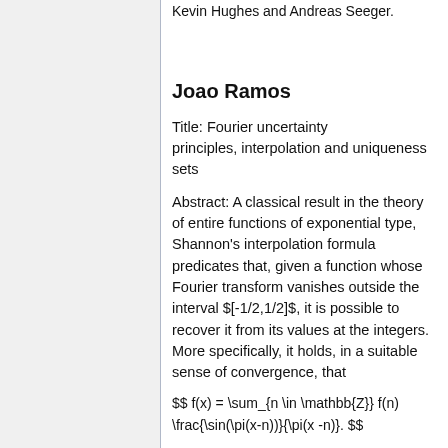Kevin Hughes and Andreas Seeger.
Joao Ramos
Title: Fourier uncertainty principles, interpolation and uniqueness sets
Abstract: A classical result in the theory of entire functions of exponential type, Shannon's interpolation formula predicates that, given a function whose Fourier transform vanishes outside the interval $[-1/2,1/2]$, it is possible to recover it from its values at the integers. More specifically, it holds, in a suitable sense of convergence, that
This formula is unfortunately unavailable for arbitrary Schwartz functions on the